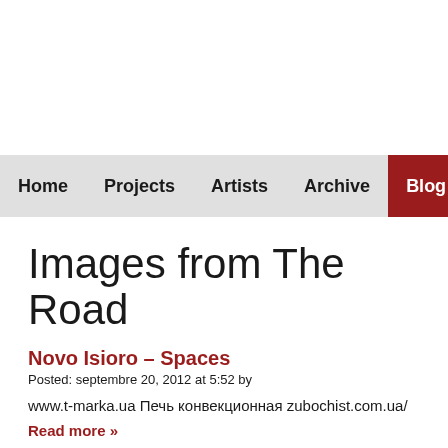Home  Projects  Artists  Archive  Blog
Images from The Road
Novo Isioro – Spaces
Posted: septembre 20, 2012 at 5:52 by
www.t-marka.ua Печь конвекционная zubochist.com.ua/
Read more »
Jide Odukoya – Douala